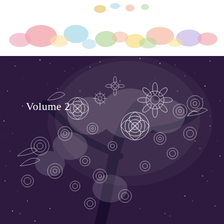[Figure (illustration): Top decorative banner with colorful watercolor paint splotches (pink, blue, green, yellow, peach, purple) on a white background, with small illustrated objects partially visible at top center.]
[Figure (illustration): Dark purple/navy background with an intricate white line-art illustration of a floral tree — branches and a large round canopy made entirely of detailed flowers (roses, sunflowers, daisies, peonies, leaves). Scattered small white dots suggest stars or glitter. The text 'Volume 2' appears in white in the upper left area of this dark panel.]
Volume 2